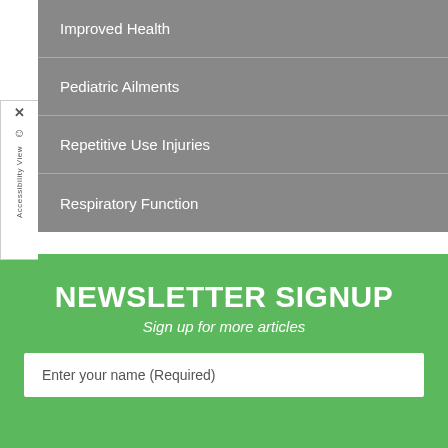Improved Health
Pediatric Ailments
Repetitive Use Injuries
Respiratory Function
NEWSLETTER SIGNUP
Sign up for more articles
Enter your name (Required)